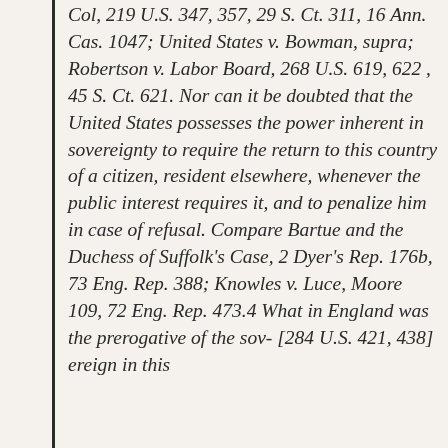Col, 219 U.S. 347, 357, 29 S. Ct. 311, 16 Ann. Cas. 1047; United States v. Bowman, supra; Robertson v. Labor Board, 268 U.S. 619, 622 , 45 S. Ct. 621. Nor can it be doubted that the United States possesses the power inherent in sovereignty to require the return to this country of a citizen, resident elsewhere, whenever the public interest requires it, and to penalize him in case of refusal. Compare Bartue and the Duchess of Suffolk's Case, 2 Dyer's Rep. 176b, 73 Eng. Rep. 388; Knowles v. Luce, Moore 109, 72 Eng. Rep. 473.4 What in England was the prerogative of the sov- [284 U.S. 421, 438] ereign in this